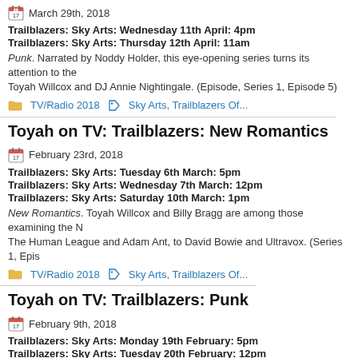March 29th, 2018
Trailblazers: Sky Arts: Wednesday 11th April: 4pm
Trailblazers: Sky Arts: Thursday 12th April: 11am
Punk. Narrated by Noddy Holder, this eye-opening series turns its attention to the... Toyah Willcox and DJ Annie Nightingale. (Episode, Series 1, Episode 5)
TV/Radio 2018   Sky Arts, Trailblazers Of...
Toyah on TV: Trailblazers: New Romantics
February 23rd, 2018
Trailblazers: Sky Arts: Tuesday 6th March: 5pm
Trailblazers: Sky Arts: Wednesday 7th March: 12pm
Trailblazers: Sky Arts: Saturday 10th March: 1pm
New Romantics. Toyah Willcox and Billy Bragg are among those examining the N... The Human League and Adam Ant, to David Bowie and Ultravox. (Series 1, Epis...
TV/Radio 2018   Sky Arts, Trailblazers Of...
Toyah on TV: Trailblazers: Punk
February 9th, 2018
Trailblazers: Sky Arts: Monday 19th February: 5pm
Trailblazers: Sky Arts: Tuesday 20th February: 12pm
Trailblazers: Sky Arts: Tuesday 24th February: 12pm
Punk. Narrated by Noddy Holder, this eye-opening series turns its attention to...